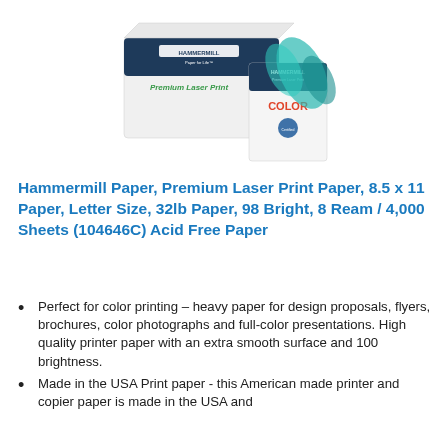[Figure (photo): Product photo of Hammermill Premium Laser Print Paper box and ream with butterfly imagery]
Hammermill Paper, Premium Laser Print Paper, 8.5 x 11 Paper, Letter Size, 32lb Paper, 98 Bright, 8 Ream / 4,000 Sheets (104646C) Acid Free Paper
Perfect for color printing – heavy paper for design proposals, flyers, brochures, color photographs and full-color presentations. High quality printer paper with an extra smooth surface and 100 brightness.
Made in the USA Print paper - this American made printer and copier paper is made in the USA and